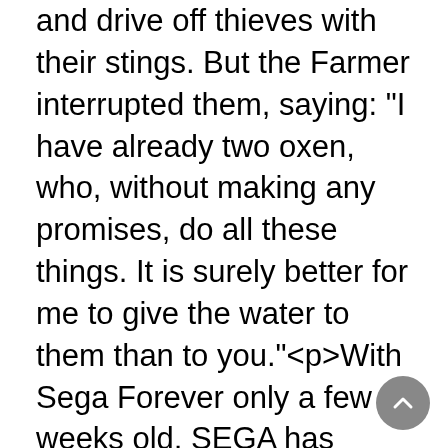and drive off thieves with their stings. But the Farmer interrupted them, saying: "I have already two oxen, who, without making any promises, do all these things. It is surely better for me to give the water to them than to you."<p>With Sega Forever only a few weeks old, SEGA has announced today that Virtua Tennis Challenge will be joining the collection on iOS and Android.</p><p>Just to bring you up to speed, Sega Forever is SEGA's latest development in which they bring some of their most classic titles to mobile free to play and playable offline.</p><p>Wimbledon may be in full swing, but now you can play your own games in Virtua Tennis Challenge. Re-imagined from the 2000 Dreamcast game, you can swing, backhand, and serve your way through 18 stadiums across the globe and take on the world's best players.</p><p>Originally available for £4.99/$4.99 on iOS, the game can now be downloaded free to play. Additionally, you can remove the ads with a one-time IAP of £1.99/$1.99. Grab it now on the App Store or Google Play.</p>&#x25c6;<p>Space Tactics is a strategic interstellar combat game that place